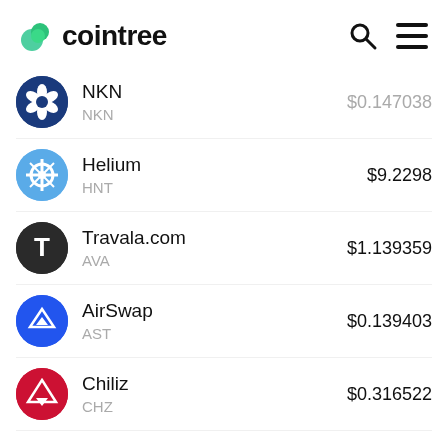[Figure (logo): Cointree logo with green leaf icon and wordmark, plus search and hamburger menu icons]
NKN NKN $0.147038 (partially visible)
Helium HNT $9.2298
Travala.com AVA $1.139359
AirSwap AST $0.139403
Chiliz CHZ $0.316522